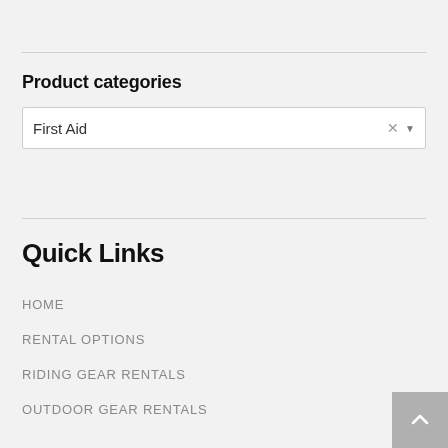Product categories
First Aid
Quick Links
HOME
RENTAL OPTIONS
RIDING GEAR RENTALS
OUTDOOR GEAR RENTALS
[Figure (other): Back to top button with upward arrow icon]